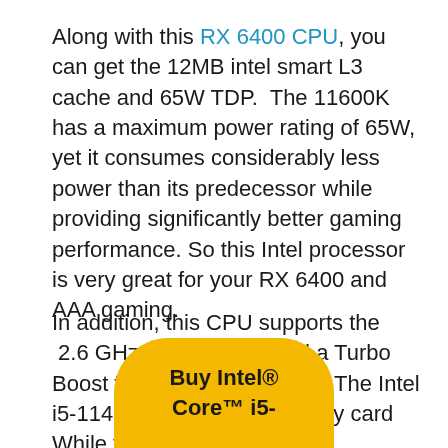Along with this RX 6400 CPU, you can get the 12MB intel smart L3 cache and 65W TDP.  The 11600K has a maximum power rating of 65W, yet it consumes considerably less power than its predecessor while providing significantly better gaming performance. So this Intel processor is very great for your RX 6400 and AAA gaming.
In addition, this CPU supports the  2.6 GHz clock speed, and a Turbo Boost frequency of 4.4 GHz. The Intel i5-11400K is a budget-friendly card While the other brands and generations' price is much higher than that.
[Figure (other): Yellow rounded button (top half visible) with bold text 'Buy Intel® Core™ i5-']